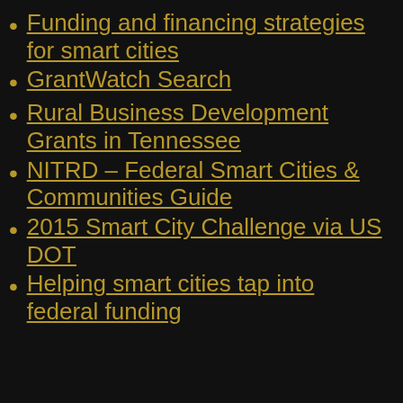Funding and financing strategies for smart cities
GrantWatch Search
Rural Business Development Grants in Tennessee
NITRD – Federal Smart Cities & Communities Guide
2015 Smart City Challenge via US DOT
Helping smart cities tap into federal funding